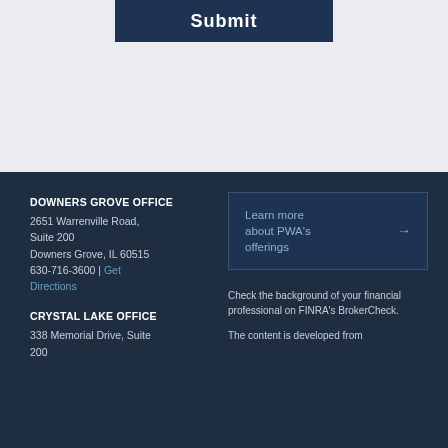Submit
DOWNERS GROVE OFFICE
2651 Warrenville Road, Suite 200
Downers Grove, IL 60515
630-716-3600 | Get Directions
CRYSTAL LAKE OFFICE
338 Memorial Drive, Suite 200
Learn more about PWA's offerings →
Check the background of your financial professional on FINRA's BrokerCheck.
The content is developed from